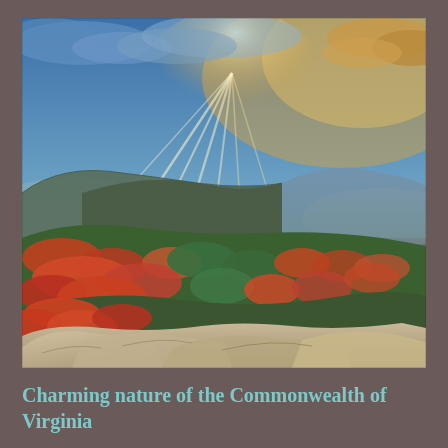[Figure (photo): Panoramic autumn landscape photo from a mountain overlook in Virginia. Foreground shows large rocky boulders with vivid red, orange, and green fall foliage on hillsides. Background shows rolling mountain ridges fading into a blue-purple haze. The dramatic sky has sun rays breaking through clouds with warm golden and blue tones.]
Charming nature of the Commonwealth of Virginia